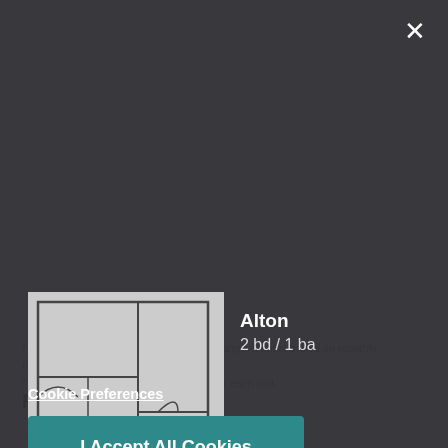We use cookies and services to understand how you use our site and to improve your browsing experience. By clicking "I Accept All Cookies", closing the bar, or continuing to browse, you agree to the storing of cookies on your device. Your cookie settings can be changed at any time by clicking "Cookie Preferences" in the footer of this site. To find out more, please view our Privacy Policy
[Figure (illustration): Floor plan schematic of apartment unit labeled Alton, 2 bd / 1 ba]
Cookie Preferences
I Accept All Cookies
* Pricing and availability are subject to change. Rent is based on monthly frequency.
** SQFT listed is an approximate value for each unit.
Ratings & Reviews
[Figure (illustration): Five yellow star rating icons]